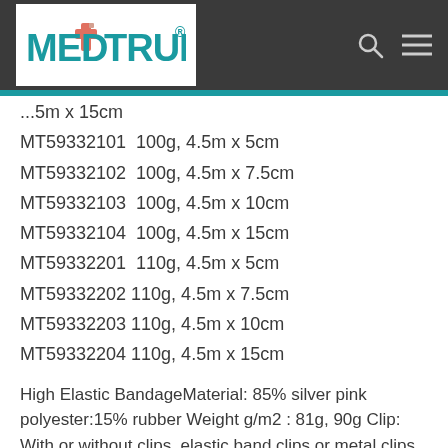MEDTRUE®
...5m x 15cm
MT59332101  100g, 4.5m x 5cm
MT59332102  100g, 4.5m x 7.5cm
MT59332103  100g, 4.5m x 10cm
MT59332104  100g, 4.5m x 15cm
MT59332201  110g, 4.5m x 5cm
MT59332202  110g, 4.5m x 7.5cm
MT59332203  110g, 4.5m x 10cm
MT59332204  110g, 4.5m x 15cm
High Elastic BandageMaterial: 85% silver pink polyester:15% rubber Weight g/m2 : 81g, 90g Clip: With or without clips, elastic band clips or metal clips Size: Length(stretched): 4m, 4.5m, 5m Width: 5cm, 7.5cm, 10cm, 15cm Packaging: individually boxed...